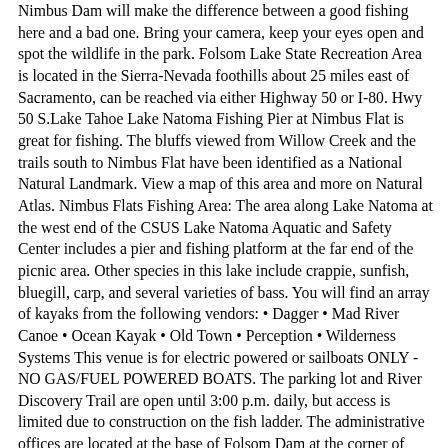Nimbus Dam will make the difference between a good fishing here and a bad one. Bring your camera, keep your eyes open and spot the wildlife in the park. Folsom Lake State Recreation Area is located in the Sierra-Nevada foothills about 25 miles east of Sacramento, can be reached via either Highway 50 or I-80. Hwy 50 S.Lake Tahoe Lake Natoma Fishing Pier at Nimbus Flat is great for fishing. The bluffs viewed from Willow Creek and the trails south to Nimbus Flat have been identified as a National Natural Landmark. View a map of this area and more on Natural Atlas. Nimbus Flats Fishing Area: The area along Lake Natoma at the west end of the CSUS Lake Natoma Aquatic and Safety Center includes a pier and fishing platform at the far end of the picnic area. Other species in this lake include crappie, sunfish, bluegill, carp, and several varieties of bass. You will find an array of kayaks from the following vendors: • Dagger • Mad River Canoe • Ocean Kayak • Old Town • Perception • Wilderness Systems This venue is for electric powered or sailboats ONLY - NO GAS/FUEL POWERED BOATS. The parking lot and River Discovery Trail are open until 3:00 p.m. daily, but access is limited due to construction on the fish ladder. The administrative offices are located at the base of Folsom Dam at the corner of Folsom-Auburn Road and Dam Road in Folsom, California. You can fish from seated positions or those of shorter stature fishing — Folsom Lake and Lake accommodate. A small town you will enter the small town you will turn right on Auburn-Folsom Rd. are separated